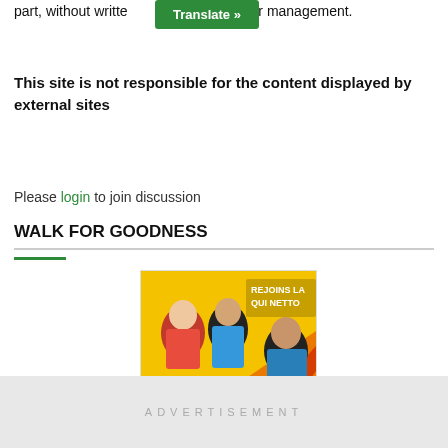part, without written permission from our management.
This site is not responsible for the content displayed by external sites
Please login to join discussion
WALK FOR GOODNESS
[Figure (photo): Movie poster for 'Walk for Goodness' showing three people (two women and one man) on a yellow/orange/red background with text 'REJOINS LA QUI NETTO' and 'WALK FOR GOODNESS']
ADVERTISEMENT